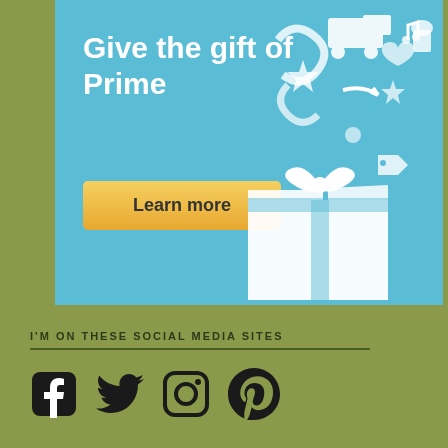[Figure (illustration): Amazon Prime advertisement banner with blue background. Shows text 'Give the gift of Prime' in white bold letters, a yellow 'Learn more' button, and a white illustrated open gift box with icons floating out (truck, music notes, stars, popcorn, hearts, arrows, tags, etc.)]
I'M ON THESE SOCIAL MEDIA SITES
[Figure (illustration): Four social media icons in dark/black: Facebook (f in rounded square), Twitter (bird), Instagram (camera), Pinterest (p)]